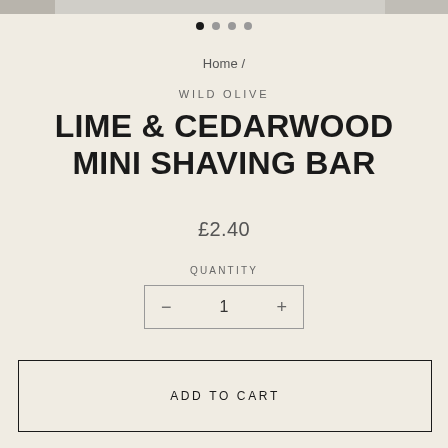[Figure (photo): Product image strip at top of page showing partial product photos]
● · · ·
Home /
WILD OLIVE
LIME & CEDARWOOD MINI SHAVING BAR
£2.40
QUANTITY
− 1 +
ADD TO CART